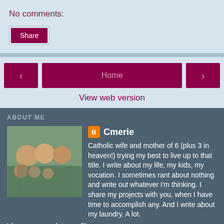No comments:
Share
Home
View web version
ABOUT ME
[Figure (photo): Family photo showing a man, woman and children outdoors]
Cmerie
Catholic wife and mother of 6 (plus 3 in heaven!) trying my best to live up to that title. I write about my life, my kids, my vocation. I sometimes rant about nothing and write out whatever I'm thinking. I share my projects with you, when I have time to accomplish any. And I write about my laundry. A lot.
View my complete profile
Powered by Blogger.